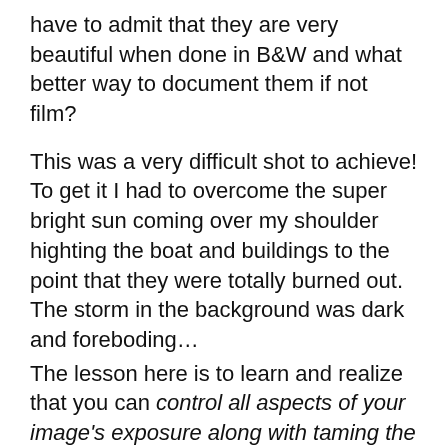have to admit that they are very beautiful when done in B&W and what better way to document them if not film?
This was a very difficult shot to achieve! To get it I had to overcome the super bright sun coming over my shoulder highting the boat and buildings to the point that they were totally burned out. The storm in the background was dark and foreboding…
The lesson here is to learn and realize that you can control all aspects of your image's exposure along with taming the dynamic range of the scene through use of thoughtful developing and scanning.
I used a Sekonic 758 to get these results by using  a combination of exposure averaging  with 6  one degree spot metered measurements, saving each reading in the meters memory then telling the meter to give me the zone 5 average which then became my base exposure.  The